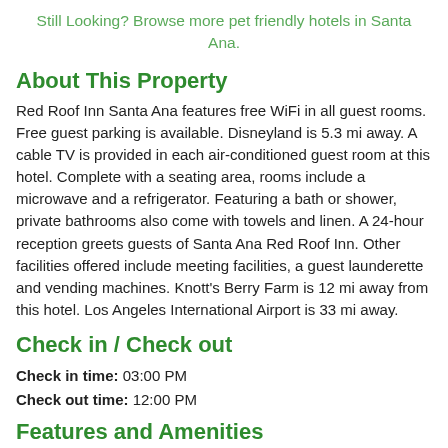Still Looking? Browse more pet friendly hotels in Santa Ana.
About This Property
Red Roof Inn Santa Ana features free WiFi in all guest rooms. Free guest parking is available. Disneyland is 5.3 mi away. A cable TV is provided in each air-conditioned guest room at this hotel. Complete with a seating area, rooms include a microwave and a refrigerator. Featuring a bath or shower, private bathrooms also come with towels and linen. A 24-hour reception greets guests of Santa Ana Red Roof Inn. Other facilities offered include meeting facilities, a guest launderette and vending machines. Knott's Berry Farm is 12 mi away from this hotel. Los Angeles International Airport is 33 mi away.
Check in / Check out
Check in time: 03:00 PM
Check out time: 12:00 PM
Features and Amenities